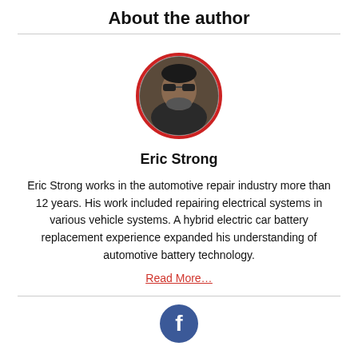About the author
[Figure (photo): Circular profile photo of Eric Strong with red circular border, man wearing sunglasses]
Eric Strong
Eric Strong works in the automotive repair industry more than 12 years. His work included repairing electrical systems in various vehicle systems. A hybrid electric car battery replacement experience expanded his understanding of automotive battery technology.
Read More…
[Figure (logo): Facebook logo icon — white F on dark blue circle]